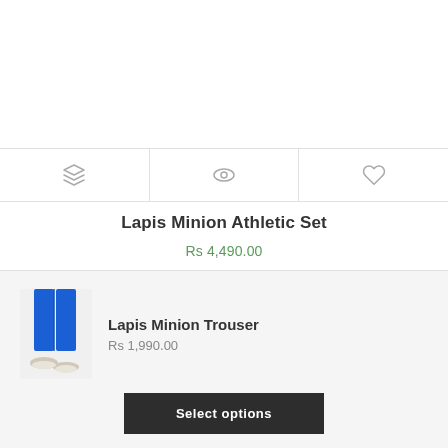[Figure (other): Three icon buttons in a horizontal bar: layers icon, eye/view icon, heart/wishlist icon]
Lapis Minion Athletic Set
Rs 4,490.00
[Figure (photo): Photo of a person wearing blue Lapis Minion Trouser athletic pants with white shoes]
Lapis Minion Trouser
Rs 1,990.00
Select options